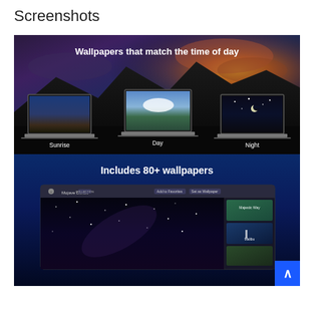Screenshots
[Figure (screenshot): App screenshot showing 'Wallpapers that match the time of day' with three laptop mockups labeled Sunrise, Day, Night, over a mountain/sky background image.]
[Figure (screenshot): App screenshot showing 'Includes 80+ wallpapers' with an app window displaying a starry night wallpaper and a sidebar with thumbnail previews including Mojave Dunes.]